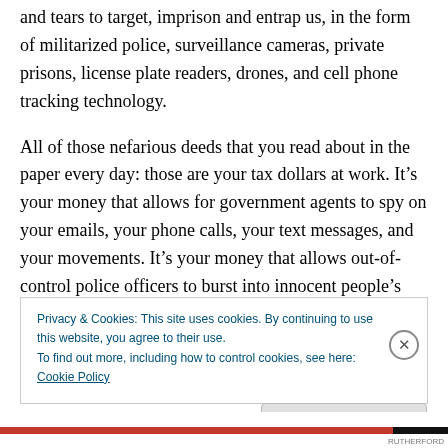and tears to target, imprison and entrap us, in the form of militarized police, surveillance cameras, private prisons, license plate readers, drones, and cell phone tracking technology.
All of those nefarious deeds that you read about in the paper every day: those are your tax dollars at work. It’s your money that allows for government agents to spy on your emails, your phone calls, your text messages, and your movements. It’s your money that allows out-of-control police officers to burst into innocent people’s homes, or
Privacy & Cookies: This site uses cookies. By continuing to use this website, you agree to their use.
To find out more, including how to control cookies, see here: Cookie Policy
Close and accept